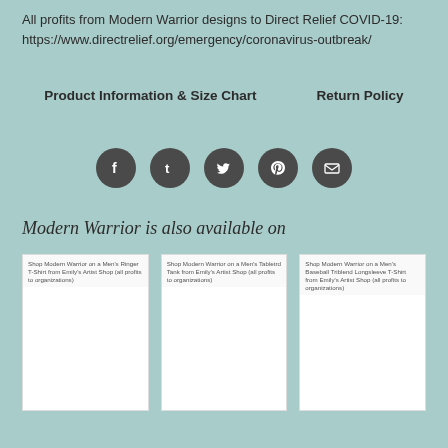All profits from Modern Warrior designs to Direct Relief COVID-19: https://www.directrelief.org/emergency/coronavirus-outbreak/
Product Information & Size Chart    Return Policy
[Figure (infographic): Five social media share icons in dark grey circles: Facebook, Tumblr, Twitter, Pinterest, Email]
Modern Warrior is also available on
[Figure (screenshot): Shop Modern Warrior on a Men's Ringer T-Shirt from Emily's Artist Shop (all profits to organizations)]
[Figure (screenshot): Shop Modern Warrior on a Men's Tabletrd Tank from Emily's Artist Shop (all profits to organizations)]
[Figure (screenshot): Shop Modern Warrior on a Men's Baseball Triblend Longsleeve T-Shirt from Emily's Artist Shop (all profits to organizations)]